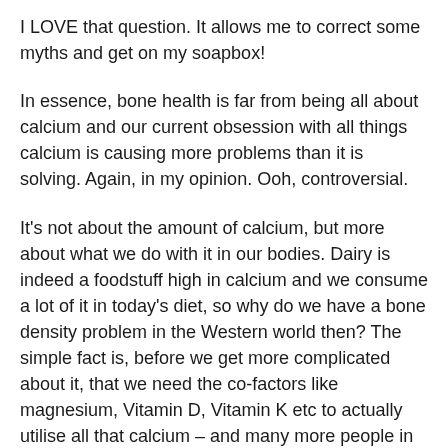I LOVE that question. It allows me to correct some myths and get on my soapbox!
In essence, bone health is far from being all about calcium and our current obsession with all things calcium is causing more problems than it is solving. Again, in my opinion. Ooh, controversial.
It's not about the amount of calcium, but more about what we do with it in our bodies. Dairy is indeed a foodstuff high in calcium and we consume a lot of it in today's diet, so why do we have a bone density problem in the Western world then? The simple fact is, before we get more complicated about it, that we need the co-factors like magnesium, Vitamin D, Vitamin K etc to actually utilise all that calcium – and many more people in my experience are woefully low in those. And I've done an awful lot of magnesium and Vit D testing in my time.